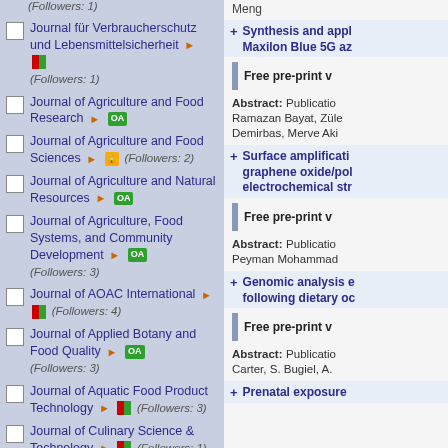(Followers: 1)
Journal für Verbraucherschutz und Lebensmittelsicherheit ► [RG] (Followers: 1)
Journal of Agriculture and Food Research ► [OA]
Journal of Agriculture and Food Sciences ► [Lock] (Followers: 2)
Journal of Agriculture and Natural Resources ► [OA]
Journal of Agriculture, Food Systems, and Community Development ► [OA] (Followers: 3)
Journal of AOAC International ► [RG] (Followers: 4)
Journal of Applied Botany and Food Quality ► [OA] (Followers: 3)
Journal of Aquatic Food Product Technology ► [RG] (Followers: 3)
Journal of Culinary Science & Technology ► [RG] (Followers: 1)
Meng
Synthesis and appl Maxilon Blue 5G az
Free pre-print v
Abstract: Publicatio Ramazan Bayat, Züle Demirbas, Merve Aki
Surface amplificati graphene oxide/pol electrochemical str
Free pre-print v
Abstract: Publicatio Peyman Mohammad
Genomic analysis e following dietary oc
Free pre-print v
Abstract: Publicatio Carter, S. Bugiel, A.
Prenatal exposure